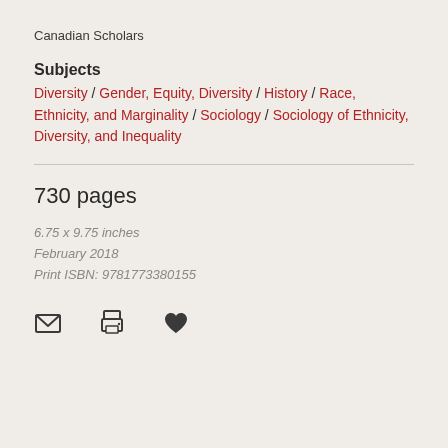Canadian Scholars
Subjects
Diversity / Gender, Equity, Diversity / History / Race, Ethnicity, and Marginality / Sociology / Sociology of Ethnicity, Diversity, and Inequality
730 pages
6.75 x 9.75 inches
February 2018
Print ISBN: 9781773380155
[Figure (infographic): Row of three icons: envelope (email), printer (print), heart (favorite/save)]